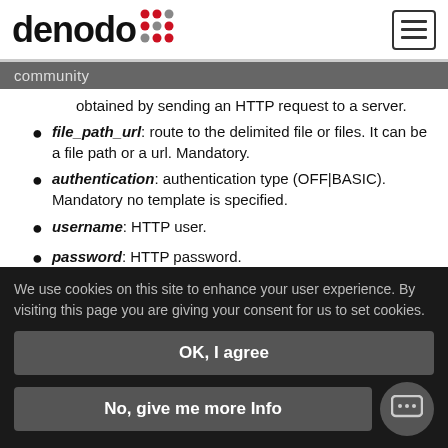denodo+ community
obtained by sending an HTTP request to a server.
file_path_url: route to the delimited file or files. It can be a file path or a url. Mandatory.
authentication: authentication type (OFF|BASIC). Mandatory no template is specified.
username: HTTP user.
password: HTTP password.
encrypted_password: whether the password has been specified encrypted (as per Denodo VQL).
folder: folder in which to place the created
We use cookies on this site to enhance your user experience. By visiting this page you are giving your consent for us to set cookies.
OK, I agree
No, give me more Info